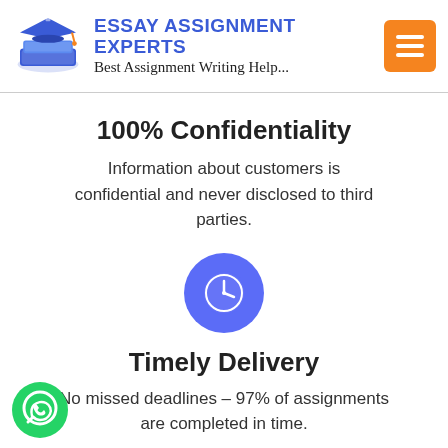[Figure (logo): Essay Assignment Experts logo with graduation cap on a book, blue color]
ESSAY ASSIGNMENT EXPERTS
Best Assignment Writing Help...
[Figure (illustration): Orange hamburger menu button with three white lines]
100% Confidentiality
Information about customers is confidential and never disclosed to third parties.
[Figure (illustration): Blue circle with white clock icon indicating Timely Delivery]
Timely Delivery
No missed deadlines – 97% of assignments are completed in time.
[Figure (illustration): Green WhatsApp button at bottom left]
[Figure (illustration): Blue icon partially visible at bottom center]